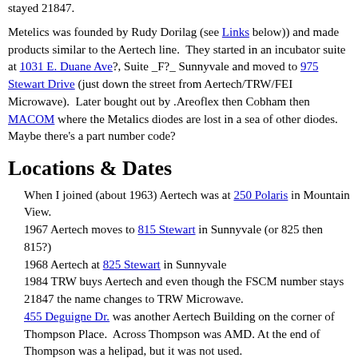stayed 21847.
Metelics was founded by Rudy Dorilag (see Links below)) and made products similar to the Aertech line. They started in an incubator suite at 1031 E. Duane Ave?, Suite _F?_ Sunnyvale and moved to 975 Stewart Drive (just down the street from Aertech/TRW/FEI Microwave). Later bought out by .Areoflex then Cobham then MACOM where the Metalics diodes are lost in a sea of other diodes. Maybe there's a part number code?
Locations & Dates
When I joined (about 1963) Aertech was at 250 Polaris in Mountain View.
1967 Aertech moves to 815 Stewart in Sunnyvale (or 825 then 815?)
1968 Aertech at 825 Stewart in Sunnyvale
1984 TRW buys Aertech and even though the FSCM number stays 21847 the name changes to TRW Microwave.
455 Deguigne Dr. was another Aertech Building on the corner of Thompson Place. Across Thompson was AMD. At the end of Thompson was a helipad, but it was not used.
1987 FEI buys CAGE code 21847 and the name becomes FEI Mi...